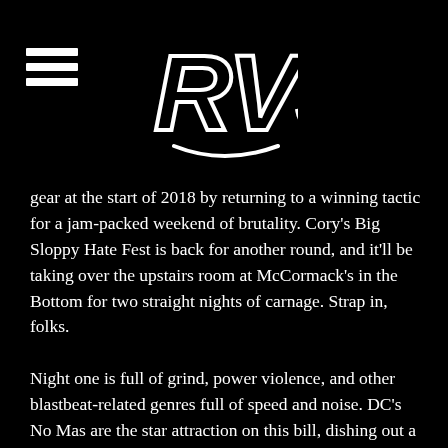[Figure (logo): RVS logo in stylized white block lettering on black background]
gear at the start of 2018 by returning to a winning tactic for a jam-packed weekend of brutality. Cory’s Big Sloppy Hate Fest is back for another round, and it’ll be taking over the upstairs room at McCormack’s in the Bottom for two straight nights of carnage. Strap in, folks.
Night one is full of grind, power violence, and other blastbeat-related genres full of speed and noise. DC’s No Mas are the star attraction on this bill, dishing out a Rotten Sound/Nasum-ish brand of extremely metallic crust-grind, laced with the occasional killer Anthrax-style mosh break. Virginia Beach heshers War Bonds have somehow landed on a sound that mixes thicknecked tough-guy mosh with death metal, or something like that. It definitely has its charms. As for locals, Charmer’s been plying their ripping speedcore around town for a while